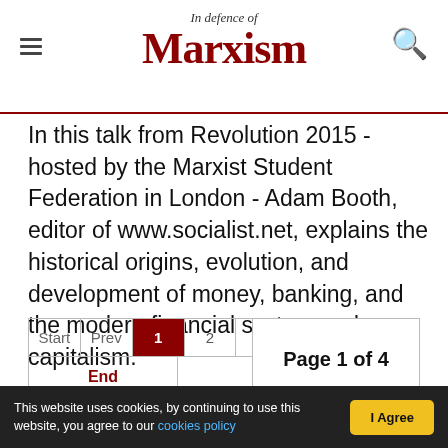In defence of Marxism
In this talk from Revolution 2015 - hosted by the Marxist Student Federation in London - Adam Booth, editor of www.socialist.net, explains the historical origins, evolution, and development of money, banking, and the modern financial system under capitalism.
Start | Prev | 1 | 2 | 3 | 4 | Next | End | Page 1 of 4
This website uses cookies, by continuing to use this website, you agree to our cookies policy | I Agree